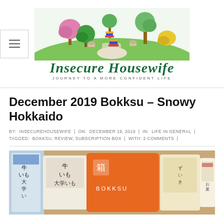[Figure (logo): Insecure Housewife blog logo — illustrated garden scene with trees and stacked books, with script text 'Insecure Housewife' and tagline 'Journey to a More Confident Life']
December 2019 Bokksu – Snowy Hokkaido
BY: INSECUREHOUSEWIFE | ON: DECEMBER 19, 2019 | IN: LIFE IN GENERAL | TAGGED: BOKKSU, REVIEW, SUBSCRIPTION BOX | WITH: 2 COMMENTS |
[Figure (photo): Photo of Bokksu subscription box contents including Japanese snack packages and an orange Bokksu branded box]